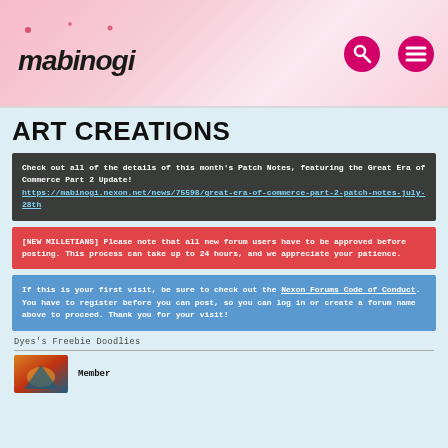Mabinogi logo with search and menu icons
ART CREATIONS
Check out all of the details of this month's Patch Notes, featuring the Great Era of Commerce Part 2 Update! https://mabinogi.nexon.net/news/75598/great-era-of-commerce-part-2-patch-notes-july-28th
[NEW MILLETIANS] Please note that all new forum users have to be approved before posting. This process can take up to 24 hours, and we appreciate your patience.
If this is your first visit, be sure to check out the Nexon Forums Code of Conduct. You have to register before you can post, so you can log in or create a forum name above to proceed. Thank you for your visit!
Dyes's Freebie Doodlies
Member